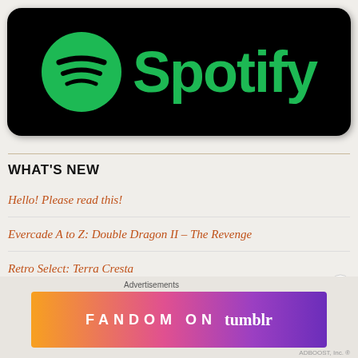[Figure (logo): Spotify logo on black rounded rectangle background with green circle logo and green Spotify wordmark]
WHAT'S NEW
Hello! Please read this!
Evercade A to Z: Double Dragon II – The Revenge
Retro Select: Terra Cresta
Atari ST A to Z: Nigel Mansell's World Championship
Atari A to Z: Up'n Down
[Figure (infographic): Fandom on Tumblr advertisement banner with colorful gradient background orange to purple with white text FANDOM ON tumblr]